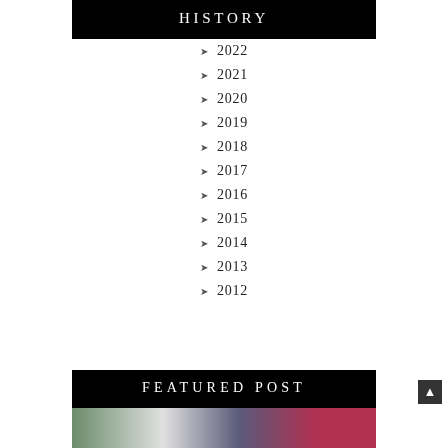HISTORY
2022
2021
2020
2019
2018
2017
2016
2015
2014
2013
2012
FEATURED POST
[Figure (photo): Featured post thumbnail image showing colors: green plant, white/grey fabric, dark blue, red/burgundy]